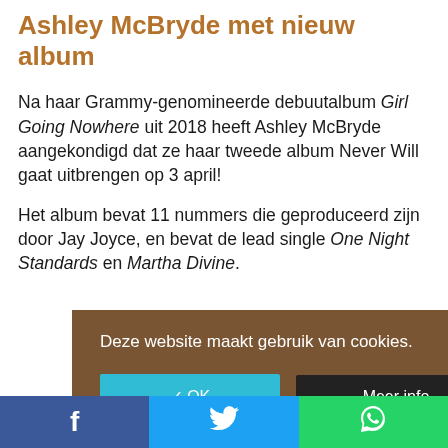Ashley McBryde met nieuw album
Na haar Grammy-genomineerde debuutalbum Girl Going Nowhere uit 2018 heeft Ashley McBryde aangekondigd dat ze haar tweede album Never Will gaat uitbrengen op 3 april!
Het album bevat 11 nummers die geproduceerd zijn door Jay Joyce, en bevat de lead single One Night Standards en Martha Divine.
Ashley McBryde schreef of co-schreef alle tracks.
[Figure (screenshot): Cookie consent dialog with brown background, text 'Deze website maakt gebruik van cookies.', OK button in teal, and Meer info button in black]
[Figure (infographic): Social share bar with Facebook (blue), Twitter (light blue), and WhatsApp (green) buttons at the bottom of the page]